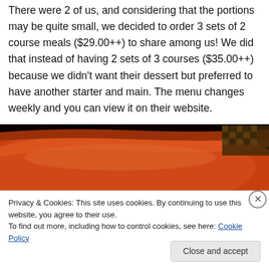There were 2 of us, and considering that the portions may be quite small, we decided to order 3 sets of 2 course meals ($29.00++) to share among us! We did that instead of having 2 sets of 3 courses ($35.00++) because we didn't want their dessert but preferred to have another starter and main. The menu changes weekly and you can view it on their website.
[Figure (photo): Close-up photo of an orange/red ceramic bowl against a dark background, with a patterned surface visible in the top right corner.]
Privacy & Cookies: This site uses cookies. By continuing to use this website, you agree to their use.
To find out more, including how to control cookies, see here: Cookie Policy